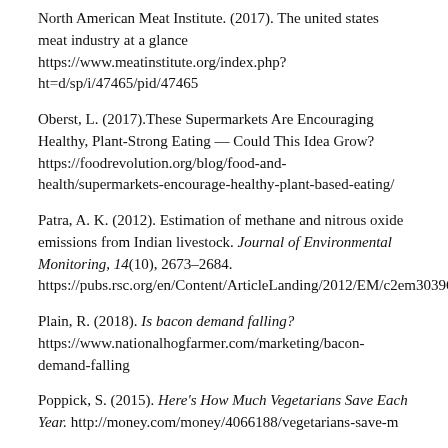North American Meat Institute. (2017). The united states meat industry at a glance https://www.meatinstitute.org/index.php?ht=d/sp/i/47465/pid/47465
Oberst, L. (2017).These Supermarkets Are Encouraging Healthy, Plant-Strong Eating — Could This Idea Grow? https://foodrevolution.org/blog/food-and-health/supermarkets-encourage-healthy-plant-based-eating/
Patra, A. K. (2012). Estimation of methane and nitrous oxide emissions from Indian livestock. Journal of Environmental Monitoring, 14(10), 2673–2684. https://pubs.rsc.org/en/Content/ArticleLanding/2012/EM/c2em30396e#!divAbstract
Plain, R. (2018). Is bacon demand falling? https://www.nationalhogfarmer.com/marketing/bacon-demand-falling
Poppick, S. (2015). Here's How Much Vegetarians Save Each Year. http://money.com/money/4066188/vegetarians-save-m